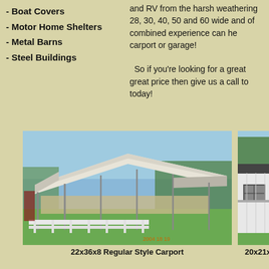- Boat Covers
- Motor Home Shelters
- Metal Barns
- Steel Buildings
and RV from the harsh weathering 28, 30, 40, 50 and 60 wide and of combined experience can he carport or garage! So if you're looking for a great great price then give us a call to today!
[Figure (photo): Large open-sided carport structure with a curved white metal roof supported by metal poles, photographed outdoors with trees and grass in the background.]
22x36x8 Regular Style Carport
[Figure (photo): White metal garage or steel building with a dark roof, window and door visible, photographed outdoors with trees in the background.]
20x21x8 B...